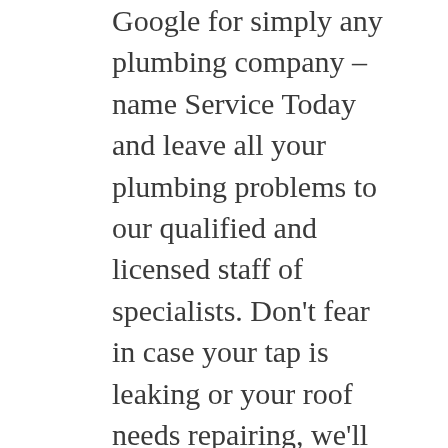Google for simply any plumbing company – name Service Today and leave all your plumbing problems to our qualified and licensed staff of specialists. Don't fear in case your tap is leaking or your roof needs repairing, we'll be there to help with our skilled options tailored to your Central Coast residence. We've been in the business for over a decade now, so you probably can belief us to know exactly what you need.
Plumbing uses the newest drainage digicam know-how to view the situation of pipes and solve the established of